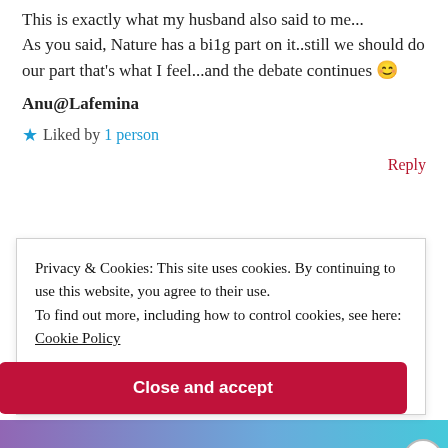This is exactly what my husband also said to me... As you said, Nature has a bi1g part on it..still we should do our part that's what I feel...and the debate continues 😊
Anu@Lafemina
★ Liked by 1 person
Reply
Privacy & Cookies: This site uses cookies. By continuing to use this website, you agree to their use.
To find out more, including how to control cookies, see here: Cookie Policy
Close and accept